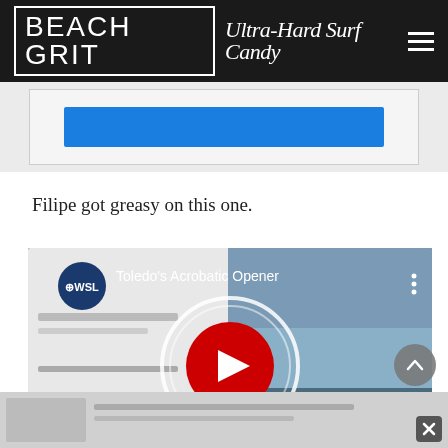BEACH GRIT Ultra-Hard Surf Candy
[Figure (screenshot): Advertisement banner with blue button on light grey background]
Filipe got greasy on this one.
[Figure (screenshot): YouTube video embed showing WSL Toledo's Acrobatic Opener with play button overlay, beach crowd visible in background]
[Figure (screenshot): Bottom advertisement strip with close X button]